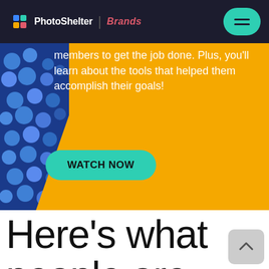PhotoShelter | Brands
members to get the job done. Plus, you'll learn about the tools that helped them accomplish their goals!
WATCH NOW
Here's what people are saying